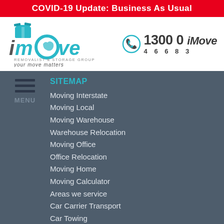COVID-19 Update: Business As Usual
[Figure (logo): iMove Removalist & Storage Group logo with tagline 'your move matters']
1300 0 iMove 4 6 6 8 3
SITEMAP
Moving Interstate
Moving Local
Moving Warehouse
Warehouse Relocation
Moving Office
Office Relocation
Moving Home
Moving Calculator
Areas we service
Car Carrier Transport
Car Towing